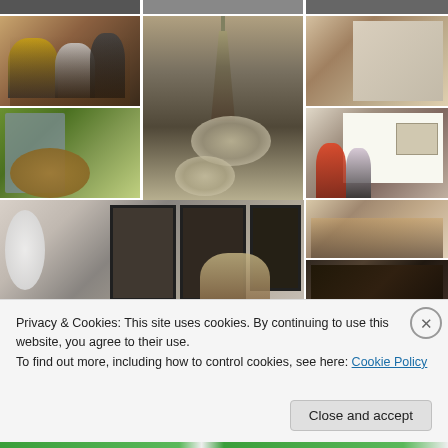[Figure (photo): Photo collage of art gallery/museum scenes showing people viewing artwork and sculptures, arranged in a grid of multiple photos]
Privacy & Cookies: This site uses cookies. By continuing to use this website, you agree to their use.
To find out more, including how to control cookies, see here: Cookie Policy
Close and accept